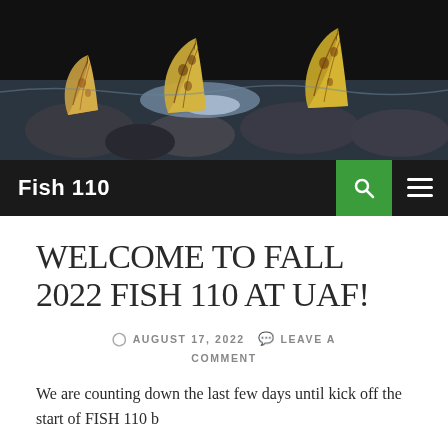[Figure (photo): Header photo showing fish tails/fins above water surface on a dark rocky riverbed background]
Fish 110
WELCOME TO FALL 2022 FISH 110 AT UAF!
⊙ AUGUST 17, 2022  💬 LEAVE A COMMENT
We are counting down the last few days until kick off the start of FISH 110 b...